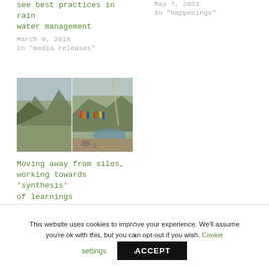see best practices in rain water management
March 9, 2018
In "media releases"
May 7, 2021
In "happenings"
[Figure (photo): Two-panel outdoor photo: left panel shows rocky mountainous terrain with blue sky, right panel shows a group of people standing near a water body in an arid landscape]
Moving away from silos, working towards ‘synthesis’ of learnings
November 2, 2018
In "Feature stories"
This website uses cookies to improve your experience. We'll assume you're ok with this, but you can opt-out if you wish. Cookie settings ACCEPT